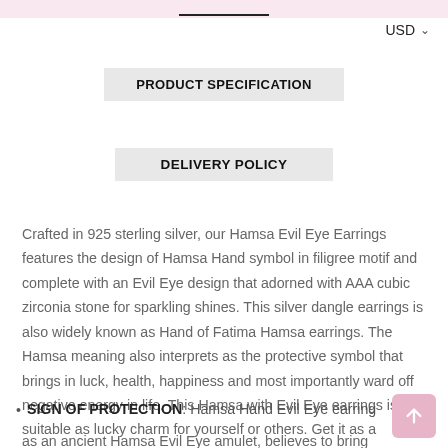USD
PRODUCT SPECIFICATION
DELIVERY POLICY
Crafted in 925 sterling silver, our Hamsa Evil Eye Earrings features the design of Hamsa Hand symbol in filigree motif and complete with an Evil Eye design that adorned with AAA cubic zirconia stone for sparkling shines. This silver dangle earrings is also widely known as Hand of Fatima Hamsa earrings. The Hamsa meaning also interprets as the protective symbol that brings in luck, health, happiness and most importantly ward off negative energy in life. This Hamsa with Evil Eye earrings is suitable as lucky charm for yourself or others. Get it as a birthday gift for women today!
SIGN OF PROTECTION: Hamsa Hand Evil Eye earring
as an ancient Hamsa Evil Eye amulet, believes to bring